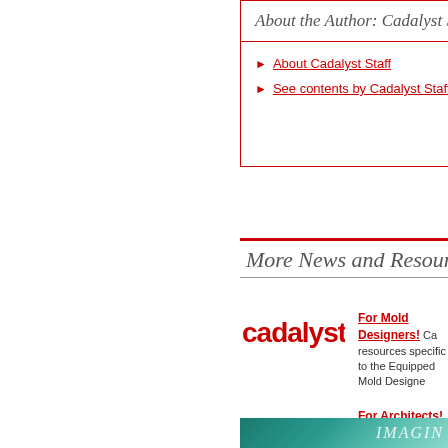About the Author: Cadalyst S
About Cadalyst Staff
See contents by Cadalyst Staff
More News and Resources
For Mold Designers! Cadalyst resources specific to the Equipped Mold Designer
For Architects! Cadalyst specific to the building design Architect here!
[Figure (logo): Cadalyst logo - red bold text on white background]
[Figure (logo): Cadalyst logo - red bold text on white background]
[Figure (photo): Partial photo with IMAGIN text overlay on teal/green background]